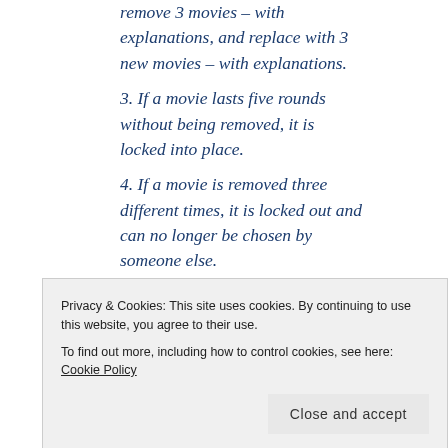remove 3 movies – with explanations, and replace with 3 new movies – with explanations.
3. If a movie lasts five rounds without being removed, it is locked into place.
4. If a movie is removed three different times, it is locked out and can no longer be chosen by someone else.
5. Once four movies are locked
Privacy & Cookies: This site uses cookies. By continuing to use this website, you agree to their use.
To find out more, including how to control cookies, see here: Cookie Policy
movie.